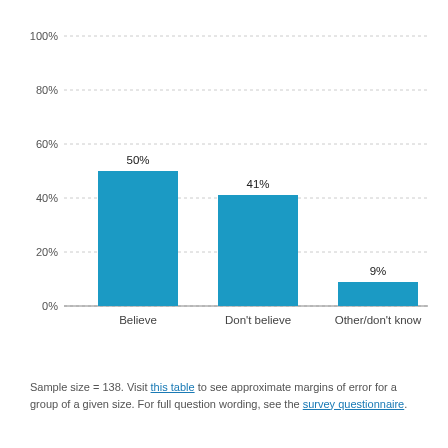[Figure (bar-chart): ]
Sample size = 138. Visit this table to see approximate margins of error for a group of a given size. For full question wording, see the survey questionnaire.